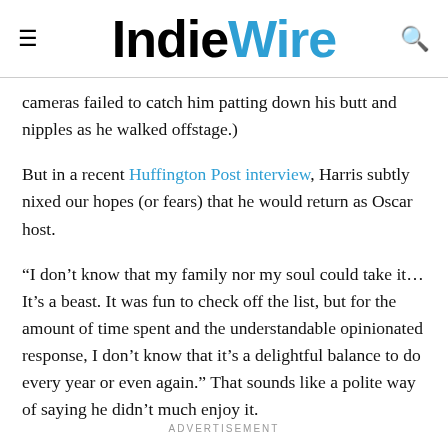IndieWire
cameras failed to catch him patting down his butt and nipples as he walked offstage.)
But in a recent Huffington Post interview, Harris subtly nixed our hopes (or fears) that he would return as Oscar host.
“I don’t know that my family nor my soul could take it… It’s a beast. It was fun to check off the list, but for the amount of time spent and the understandable opinionated response, I don’t know that it’s a delightful balance to do every year or even again.” That sounds like a polite way of saying he didn’t much enjoy it.
ADVERTISEMENT